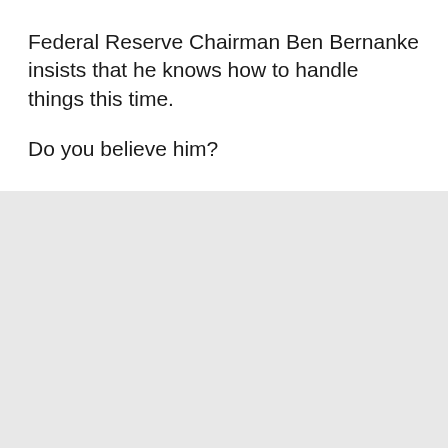Federal Reserve Chairman Ben Bernanke insists that he knows how to handle things this time.
Do you believe him?